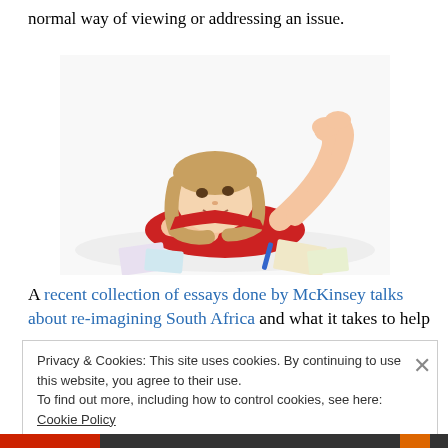normal way of viewing or addressing an issue.
[Figure (photo): A young girl in a red dress lying on her stomach, resting her chin on her hand and looking upward thoughtfully, with colorful drawings/papers around her.]
A recent collection of essays done by McKinsey talks about re-imagining South Africa and what it takes to help
Privacy & Cookies: This site uses cookies. By continuing to use this website, you agree to their use.
To find out more, including how to control cookies, see here: Cookie Policy
Close and accept